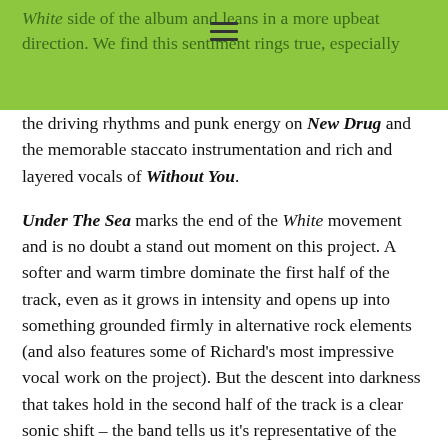White side of the album and leans in a more upbeat direction. We find this sentiment rings true, especially
the driving rhythms and punk energy on New Drug and the memorable staccato instrumentation and rich and layered vocals of Without You. Under The Sea marks the end of the White movement and is no doubt a stand out moment on this project. A softer and warm timbre dominate the first half of the track, even as it grows in intensity and opens up into something grounded firmly in alternative rock elements (and also features some of Richard's most impressive vocal work on the project). But the descent into darkness that takes hold in the second half of the track is a clear sonic shift – the band tells us it's representative of the death of the main character, which opens the door for the much heavier-handed Black album.